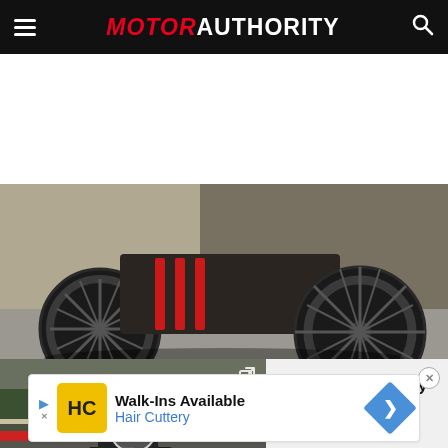MOTOR AUTHORITY
[Figure (photo): Close-up of antique car wheels and undercarriage, an old vintage automobile with spoke wheels on a street]
[Figure (screenshot): Video thumbnail showing a camouflaged 2021 BMW M4 spy car on a race circuit with play button overlay and video title '2021 BMW M4 spy video']
[Figure (other): Advertisement banner for Hair Cuttery: Walk-Ins Available with HC logo and directional arrow]